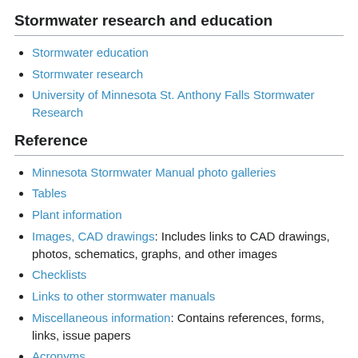Stormwater research and education
Stormwater education
Stormwater research
University of Minnesota St. Anthony Falls Stormwater Research
Reference
Minnesota Stormwater Manual photo galleries
Tables
Plant information
Images, CAD drawings: Includes links to CAD drawings, photos, schematics, graphs, and other images
Checklists
Links to other stormwater manuals
Miscellaneous information: Contains references, forms, links, issue papers
Acronyms
Symbols
Glossary (definitions)